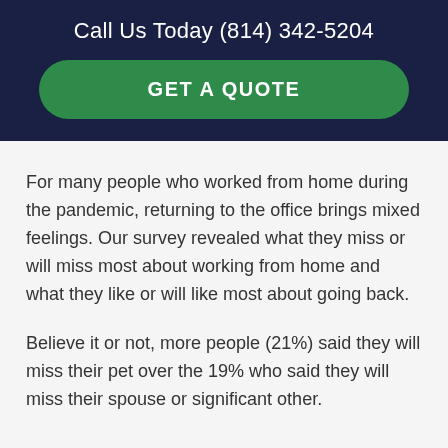Call Us Today (814) 342-5204
GET A QUOTE
For many people who worked from home during the pandemic, returning to the office brings mixed feelings. Our survey revealed what they miss or will miss most about working from home and what they like or will like most about going back.
Believe it or not, more people (21%) said they will miss their pet over the 19% who said they will miss their spouse or significant other.